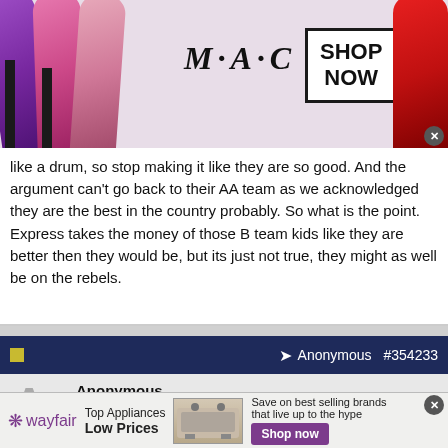[Figure (photo): MAC cosmetics advertisement banner with lipsticks, MAC logo, and SHOP NOW box]
like a drum, so stop making it like they are so good. And the argument can't go back to their AA team as we acknowledged they are the best in the country probably. So what is the point. Express takes the money of those B team kids like they are better then they would be, but its just not true, they might as well be on the rebels.
Anonymous #354233
Anonymous
Unregistered
Originally Posted by Anonymous
no question that express AA would beat 91, no one was arguing
[Figure (photo): Wayfair advertisement - Top Appliances Low Prices with stove image and Shop now button]